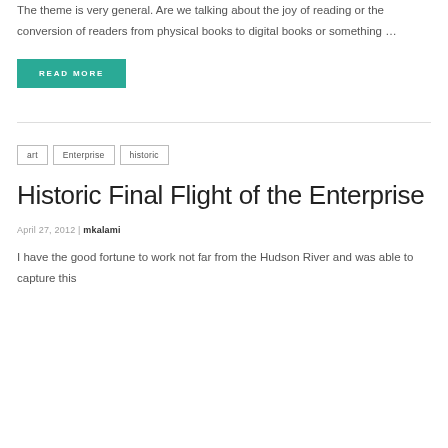The theme is very general. Are we talking about the joy of reading or the conversion of readers from physical books to digital books or something …
READ MORE
art
Enterprise
historic
Historic Final Flight of the Enterprise
April 27, 2012 | mkalami
I have the good fortune to work not far from the Hudson River and was able to capture this